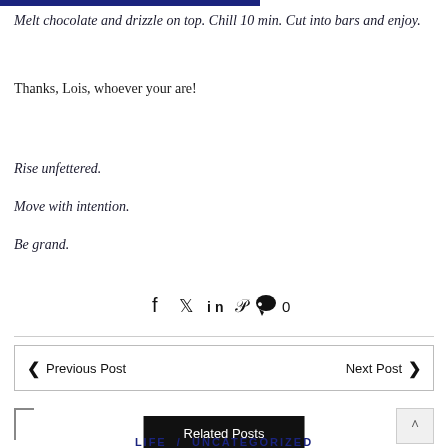Melt chocolate and drizzle on top. Chill 10 min. Cut into bars and enjoy.
Thanks, Lois, whoever your are!
Rise unfettered.
Move with intention.
Be grand.
[Figure (other): Social share icons: Facebook, Twitter, LinkedIn, Pinterest, comment with count 0]
Previous Post
Next Post
Related Posts
LIFE / UNCATEGORIZED